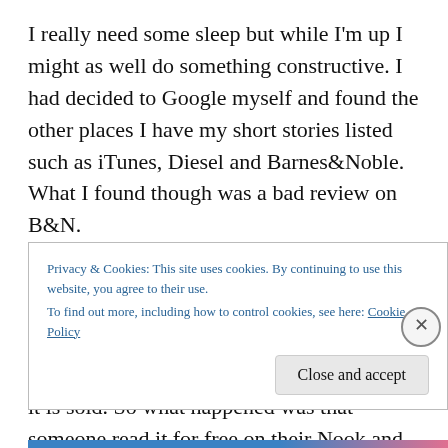I really need some sleep but while I'm up I might as well do something constructive. I had decided to Google myself and found the other places I have my short stories listed such as iTunes, Diesel and Barnes&Noble. What I found though was a bad review on B&N.
I have my stories listed on Smashwords and on there it lists Peaceable Kingdom as an adult story. What I did not realize is that it would not list it that way on the other places it is sold. So what happened was that someone read it for free on their Nook and was offended. Offended
Privacy & Cookies: This site uses cookies. By continuing to use this website, you agree to their use.
To find out more, including how to control cookies, see here: Cookie Policy
Close and accept